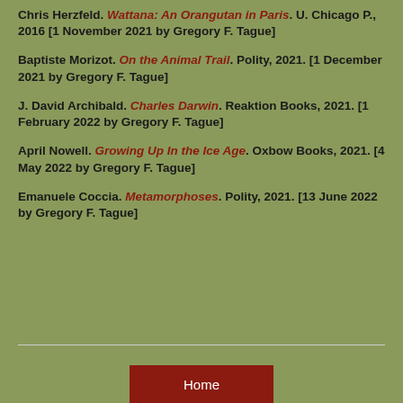Chris Herzfeld. Wattana: An Orangutan in Paris. U. Chicago P., 2016 [1 November 2021 by Gregory F. Tague]
Baptiste Morizot. On the Animal Trail. Polity, 2021. [1 December 2021 by Gregory F. Tague]
J. David Archibald. Charles Darwin. Reaktion Books, 2021. [1 February 2022 by Gregory F. Tague]
April Nowell. Growing Up In the Ice Age. Oxbow Books, 2021. [4 May 2022 by Gregory F. Tague]
Emanuele Coccia. Metamorphoses. Polity, 2021. [13 June 2022 by Gregory F. Tague]
Home